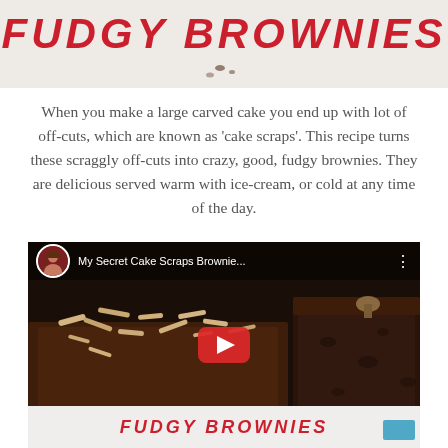[Figure (photo): Top banner image showing 'FUDGY BROWNIES' text in bold red italic letters on a light background with chocolate crumbs, partially cropped at top]
When you make a large carved cake you end up with lot of off-cuts, which are known as 'cake scraps'. This recipe turns these scraggly off-cuts into crazy, good, fudgy brownies. They are delicious served warm with ice-cream, or cold at any time of the day.
[Figure (screenshot): YouTube video embed thumbnail showing 'My Secret Cake Scraps Brownie...' with a female presenter avatar, brownies with almond slivers and a cross-section brownie piece visible, red YouTube play button in center, and 'FUDGY BROWNIES' text at bottom with a blue rectangle in bottom-right corner]